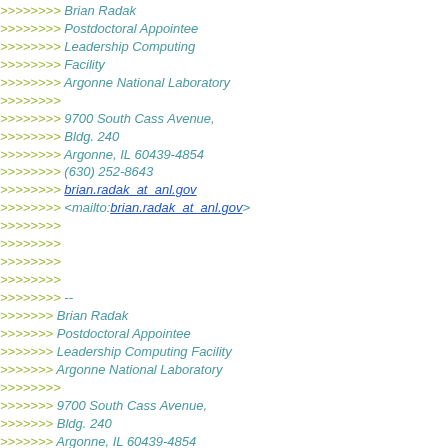>>>>>>>>  Brian Radak
>>>>>>>>  Postdoctoral Appointee
>>>>>>>>  Leadership Computing
>>>>>>>>  Facility
>>>>>>>>  Argonne National Laboratory
>>>>>>>>
>>>>>>>>  9700 South Cass Avenue,
>>>>>>>>  Bldg. 240
>>>>>>>>  Argonne, IL 60439-4854
>>>>>>>>  (630) 252-8643
>>>>>>>>  brian.radak_at_anl.gov
>>>>>>>>  <mailto:brian.radak_at_anl.gov>
>>>>>>>>
>>>>>>>>
>>>>>>>>
>>>>>>>>
>>>>>>>>  --
>>>>>>>  Brian Radak
>>>>>>>  Postdoctoral Appointee
>>>>>>>  Leadership Computing Facility
>>>>>>>  Argonne National Laboratory
>>>>>>>>
>>>>>>>  9700 South Cass Avenue,
>>>>>>>  Bldg. 240
>>>>>>>  Argonne, IL 60439-4854